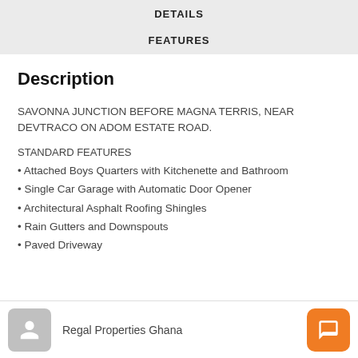DETAILS
FEATURES
Description
SAVONNA JUNCTION BEFORE MAGNA TERRIS, NEAR DEVTRACO ON ADOM ESTATE ROAD.
STANDARD FEATURES
• Attached Boys Quarters with Kitchenette and Bathroom
• Single Car Garage with Automatic Door Opener
• Architectural Asphalt Roofing Shingles
• Rain Gutters and Downspouts
• Paved Driveway
Regal Properties Ghana